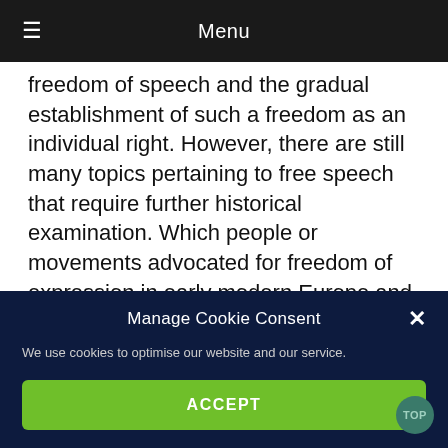Menu
freedom of speech and the gradual establishment of such a freedom as an individual right. However, there are still many topics pertaining to free speech that require further historical examination. Which people or movements advocated for freedom of expression in early modern Europe and what boundaries were deemed necessary to such a freedom? A reassessment of the accepted opinion that liberal thinkers were the only ones promoting free speech seems particularly topical; after all, the “liberal”
Manage Cookie Consent
We use cookies to optimise our website and our service.
ACCEPT